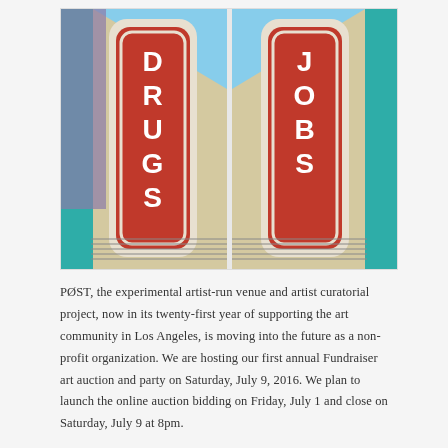[Figure (photo): A diptych photograph showing two large vintage neon signs on a building facade viewed from below. Left panel shows a red vertically-oriented sign reading 'DRUGS' in white lettering with a teal/turquoise building trim. Right panel shows a matching red vertical sign reading 'JOBS' with the same building style and blue sky background.]
PØST, the experimental artist-run venue and artist curatorial project, now in its twenty-first year of supporting the art community in Los Angeles, is moving into the future as a non-profit organization. We are hosting our first annual Fundraiser art auction and party on Saturday, July 9, 2016. We plan to launch the online auction bidding on Friday, July 1 and close on Saturday, July 9 at 8pm.